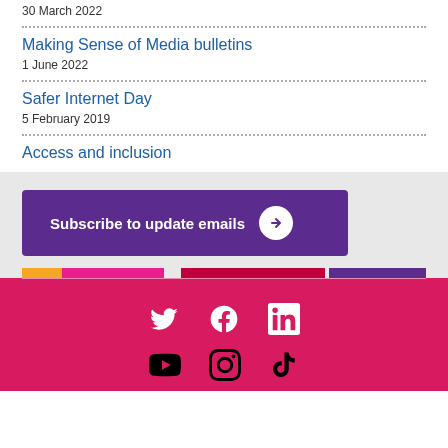30 March 2022
Making Sense of Media bulletins
1 June 2022
Safer Internet Day
5 February 2019
Access and inclusion
Subscribe to update emails
[Figure (infographic): Footer color bar with orange, pink, red, and purple segments]
[Figure (infographic): Footer section with social media icons: Twitter, Facebook, LinkedIn on first row; YouTube, Instagram, TikTok on second row (partially visible)]